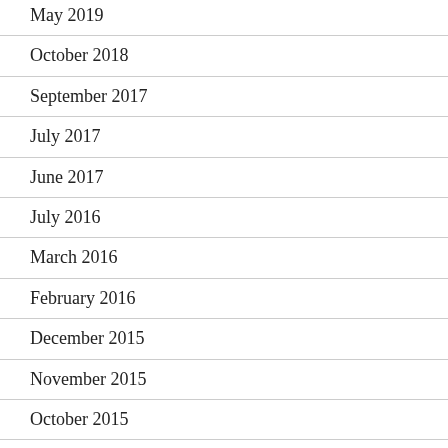May 2019
October 2018
September 2017
July 2017
June 2017
July 2016
March 2016
February 2016
December 2015
November 2015
October 2015
September 2015